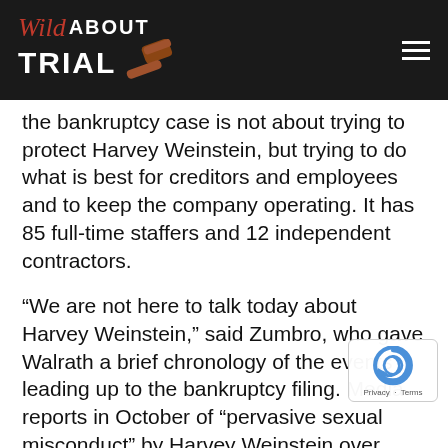Wild About Trial
the bankruptcy case is not about trying to protect Harvey Weinstein, but trying to do what is best for creditors and employees and to keep the company operating. It has 85 full-time staffers and 12 independent contractors.
“We are not here to talk today about Harvey Weinstein,” said Zumbro, who gave Walrath a brief chronology of the events leading up to the bankruptcy filing. Media reports in October of “pervasive sexual misconduct” by Harvey Weinstein over more than 20 years had an “immediate and profound” effect on the company, he noted.
“The backlash against the company from all sides